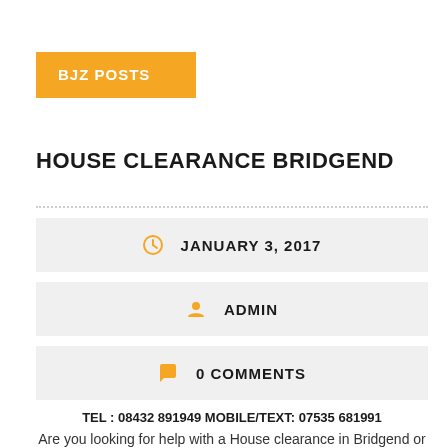BJZ POSTS
HOUSE CLEARANCE BRIDGEND
JANUARY 3, 2017
ADMIN
0 COMMENTS
TEL : 08432 891949 MOBILE/TEXT: 07535 681991 Are you looking for help with a House clearance in Bridgend or the surrounding areas? We...